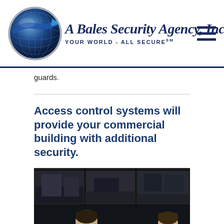A Bales Security Agency, Inc. YOUR WORLD - ALL SECURE℠
guards.
Access control systems will provide your commercial building with additional security.
[Figure (photo): Two men in suits viewed from behind, sitting at a security monitoring station with multiple CCTV screens showing outdoor surveillance footage.]